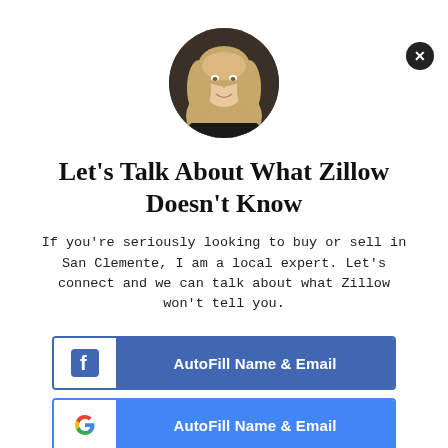[Figure (photo): Circular portrait photo of a blonde woman against a dark background]
Let's Talk About What Zillow Doesn't Know
If you're seriously looking to buy or sell in San Clemente, I am a local expert. Let's connect and we can talk about what Zillow won't tell you.
[Figure (other): Facebook AutoFill Name & Email button]
[Figure (other): Google AutoFill Name & Email button]
First Name *